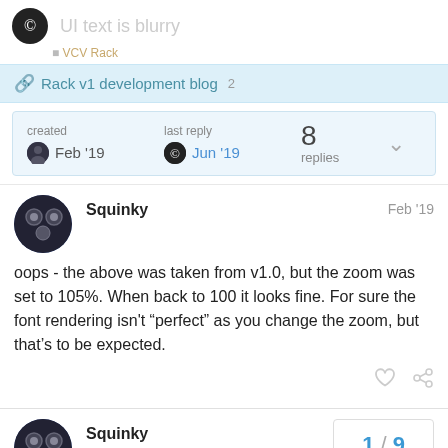UI text is blurry
Rack v1 development blog  2
| created | last reply | 8 replies |  |
| --- | --- | --- | --- |
| Feb '19 | Jun '19 |  | chevron |
Squinky  Feb '19
oops - the above was taken from v1.0, but the zoom was set to 105%. When back to 100 it looks fine. For sure the font rendering isn't “perfect” as you change the zoom, but that’s to be expected.
Squinky  1 / 9